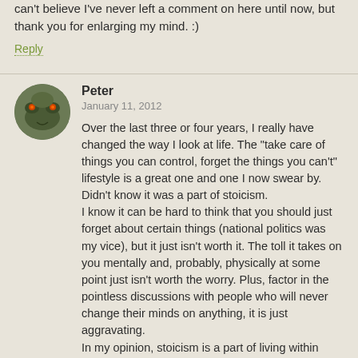can't believe I've never left a comment on here until now, but thank you for enlarging my mind. :)
Reply
Peter
January 11, 2012
Over the last three or four years, I really have changed the way I look at life. The "take care of things you can control, forget the things you can't" lifestyle is a great one and one I now swear by. Didn't know it was a part of stoicism.
I know it can be hard to think that you should just forget about certain things (national politics was my vice), but it just isn't worth it. The toll it takes on you mentally and, probably, physically at some point just isn't worth the worry. Plus, factor in the pointless discussions with people who will never change their minds on anything, it is just aggravating.
In my opinion, stoicism is a part of living within your means, just not necessarily financially.
I am interested in trying some of the other ideas. I will have to pick up the book!
Reply